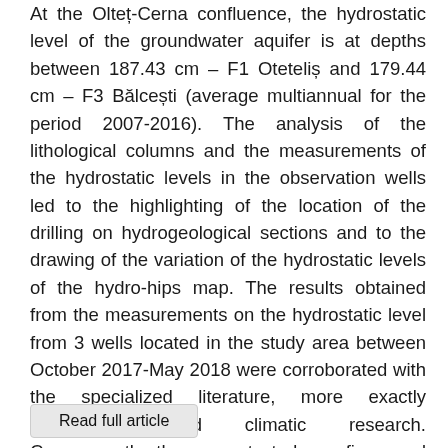At the Olteț-Cerna confluence, the hydrostatic level of the groundwater aquifer is at depths between 187.43 cm – F1 Oteteliș and 179.44 cm – F3 Bălcești (average multiannual for the period 2007-2016). The analysis of the lithological columns and the measurements of the hydrostatic levels in the observation wells led to the highlighting of the location of the drilling on hydrogeological sections and to the drawing of the variation of the hydrostatic levels of the hydro-hips map. The results obtained from the measurements on the hydrostatic level from 3 wells located in the study area between October 2017-May 2018 were corroborated with the specialized literature, more exactly hydrological and climatic research. Consequently, the present study confirms and explains the contribution of groundwater from the meadow to the flow of the Olteț and Cerna Rivers in the confluence sector.
Read full article